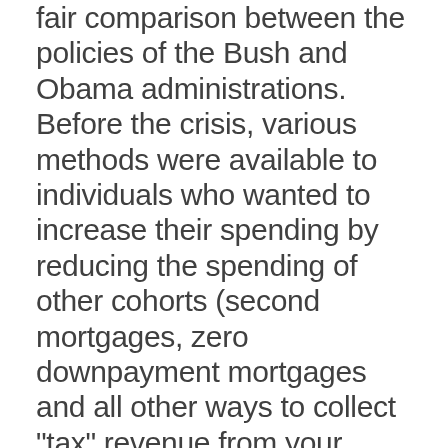fair comparison between the policies of the Bush and Obama administrations. Before the crisis, various methods were available to individuals who wanted to increase their spending by reducing the spending of other cohorts (second mortgages, zero downpayment mortgages and all other ways to collect "tax" revenue from your unborn children). Right now the availability of these Bush-era methods is reduced, and all we have is the faster growth of government debt instead. As the growth of the total debt is slower now than